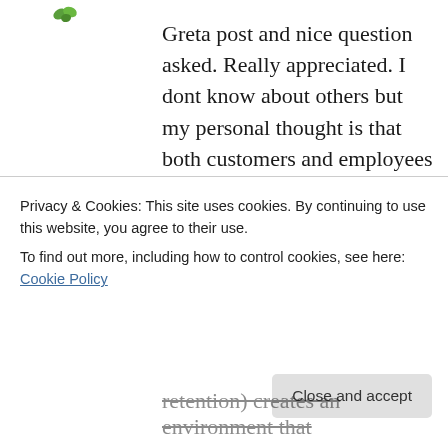[Figure (illustration): Small green avatar/flower icon in the top left area]
Greta post and nice question asked. Really appreciated. I dont know about others but my personal thought is that both customers and employees are important. Because both play a vital role at their own places in the growth of the business. We get the business from customers and our employees helps us to complete the work which we get. So nobody comes first both are important for the growth of the business.
Reply
Privacy & Cookies: This site uses cookies. By continuing to use this website, you agree to their use.
To find out more, including how to control cookies, see here: Cookie Policy
Close and accept
retention) creates an environment that